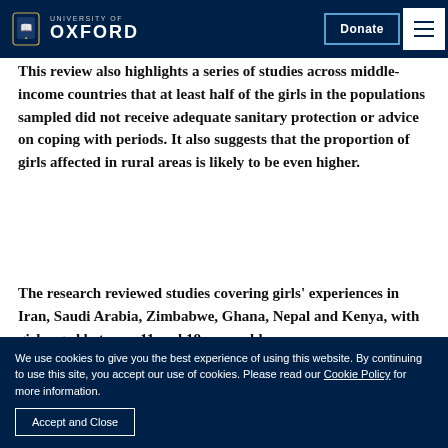University of Oxford — navigation bar with Donate button and menu
This review also highlights a series of studies across middle-income countries that at least half of the girls in the populations sampled did not receive adequate sanitary protection or advice on coping with periods. It also suggests that the proportion of girls affected in rural areas is likely to be even higher.
The research reviewed studies covering girls' experiences in Iran, Saudi Arabia, Zimbabwe, Ghana, Nepal and Kenya, with girls aged between 11 and 18 years old.
We use cookies to give you the best experience of using this website. By continuing to use this site, you accept our use of cookies. Please read our Cookie Policy for more information. Accept and Close